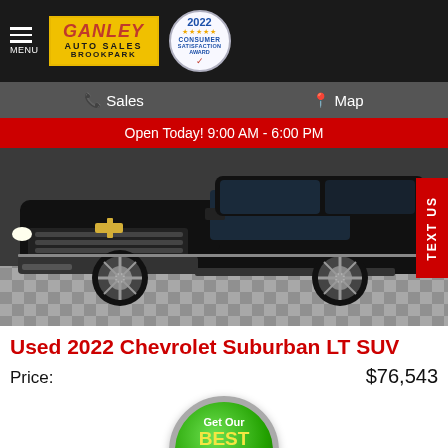GANLEY AUTO SALES BROOKPARK — 2022 Consumer Satisfaction Award
Sales   Map
Open Today! 9:00 AM - 6:00 PM
[Figure (photo): Front view of a black 2022 Chevrolet Suburban LT SUV parked indoors on a checkered tile floor. TEXT US tab visible on the right.]
Used 2022 Chevrolet Suburban LT SUV
Price: $76,543
[Figure (illustration): Green circular button with silver border reading 'Get Our BEST PRICE NOW' in white and yellow text]